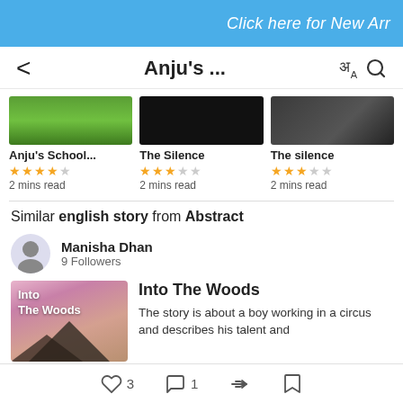Click here for New Arr
Anju's ...
[Figure (screenshot): Three book thumbnails: grass image, dark image, dark image]
Anju's School...
★★★★☆
2 mins read
The Silence
★★★☆☆
2 mins read
The silence
★★★☆☆
2 mins read
Similar english story from Abstract
Manisha Dhan
9 Followers
[Figure (illustration): Book cover: Into The Woods, with mountain and pink sky]
Into The Woods
The story is about a boy working in a circus and describes his talent and